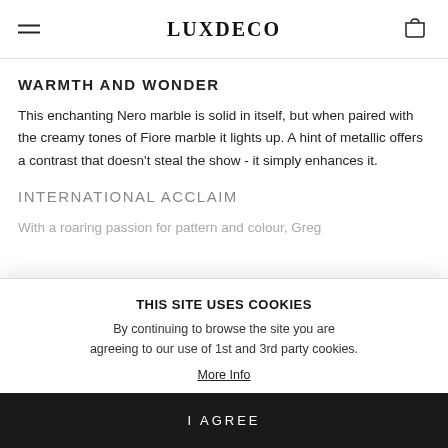LUXDECO
WARMTH AND WONDER
This enchanting Nero marble is solid in itself, but when paired with the creamy tones of Fiore marble it lights up. A hint of metallic offers a contrast that doesn't steal the show - it simply enhances it.
INTERNATIONAL ACCLAIM
With a roaring passion for pattern and colour, Greg
THIS SITE USES COOKIES
By continuing to browse the site you are agreeing to our use of 1st and 3rd party cookies.
More Info
I AGREE